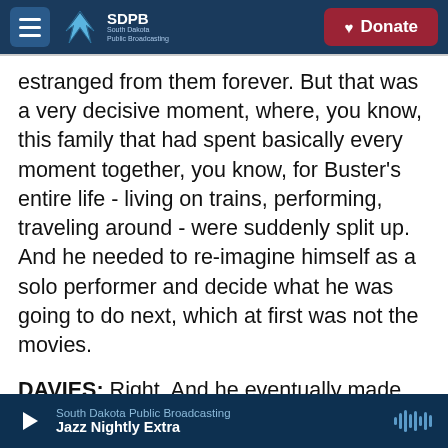SDPB South Dakota Public Broadcasting | Donate
estranged from them forever. But that was a very decisive moment, where, you know, this family that had spent basically every moment together, you know, for Buster's entire life - living on trains, performing, traveling around - were suddenly split up. And he needed to re-imagine himself as a solo performer and decide what he was going to do next, which at first was not the movies.
DAVIES: Right. And he eventually made his way to New York and became quite successful. What was his relationship with his family thereafter in terms of, you know, meaningful relationships as well as
South Dakota Public Broadcasting | Jazz Nightly Extra